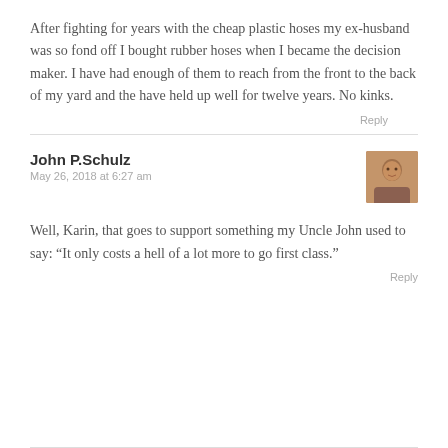After fighting for years with the cheap plastic hoses my ex-husband was so fond off I bought rubber hoses when I became the decision maker. I have had enough of them to reach from the front to the back of my yard and the have held up well for twelve years. No kinks.
Reply
John P.Schulz
May 26, 2018 at 6:27 am
[Figure (photo): Small avatar photo of a man, brownish tones]
Well, Karin, that goes to support something my Uncle John used to say: “It only costs a hell of a lot more to go first class.”
Reply